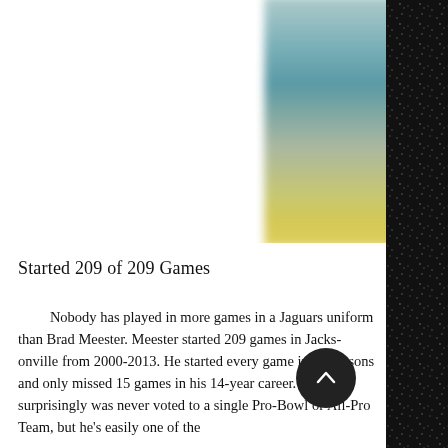[Figure (photo): Blurred/pixelated photo of a Jacksonville Jaguars football player in uniform]
Started 209 of 209 Games
Nobody has played in more games in a Jaguars uniform than Brad Meester. Meester started 209 games in Jacksonville from 2000-2013. He started every game in 11 seasons and only missed 15 games in his 14-year career. He surprisingly was never voted to a single Pro-Bowl or All-Pro Team, but he's easily one of the